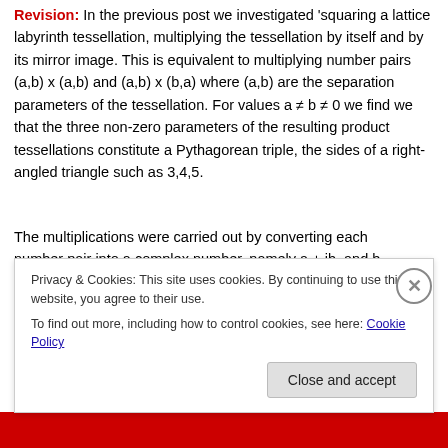Revision: In the previous post we investigated 'squaring a lattice labyrinth tessellation, multiplying the tessellation by itself and by its mirror image. This is equivalent to multiplying number pairs (a,b) x (a,b) and (a,b) x (b,a) where (a,b) are the separation parameters of the tessellation. For values a ≠ b ≠ 0 we find we that the three non-zero parameters of the resulting product tessellations constitute a Pythagorean triple, the sides of a right-angled triangle such as 3,4,5.
The multiplications were carried out by converting each number pair into a complex number, namely a + ib, and b
Privacy & Cookies: This site uses cookies. By continuing to use this website, you agree to their use.
To find out more, including how to control cookies, see here: Cookie Policy
Close and accept